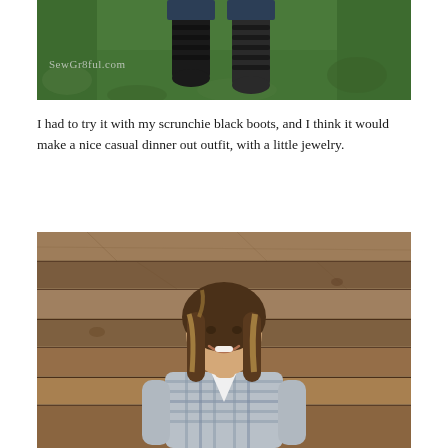[Figure (photo): Close-up photo looking down at a person's legs wearing dark/black scrunchie boots, standing on green grass. Watermark text 'SewGr8ful.com' visible in lower-left of image.]
I had to try it with my scrunchie black boots, and I think it would make a nice casual dinner out outfit, with a little jewelry.
[Figure (photo): Photo of a smiling woman with blonde-highlighted brown hair, wearing a white t-shirt under a plaid flannel shirt (blue/white/grey), standing in front of a rustic wooden plank wall background.]